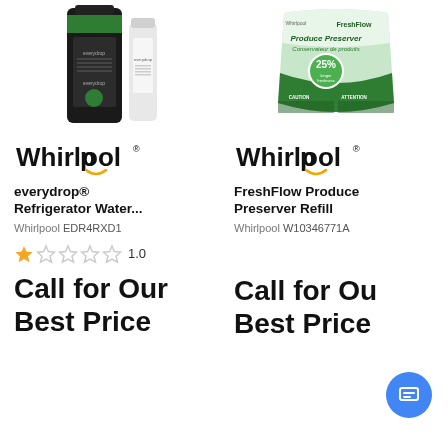[Figure (photo): Product image of everydrop refrigerator water filter in black packaging with white filter cartridge beside it]
[Figure (logo): Whirlpool brand logo with orange swirl under the 'o']
everydrop® Refrigerator Water...
Whirlpool EDR4RXD1
1.0 star rating
Call for Our Best Price
[Figure (photo): FreshFlow Produce Preserver refill bag with green produce imagery and 25% badge, bilingual packaging]
[Figure (logo): Whirlpool brand logo with orange swirl under the 'o']
FreshFlow Produce Preserver Refill
Whirlpool W10346771A
Call for Our Best Price